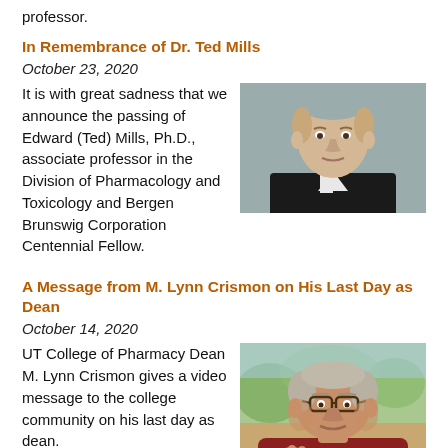professor.
In Remembrance of Dr. Ted Mills
October 23, 2020
[Figure (photo): Headshot of a man in a suit with white shirt, bald on top, light complexion, gray background]
It is with great sadness that we announce the passing of Edward (Ted) Mills, Ph.D., associate professor in the Division of Pharmacology and Toxicology and Bergen Brunswig Corporation Centennial Fellow.
A Message from M. Lynn Crismon on His Last Day as Dean
October 14, 2020
[Figure (photo): Older man with glasses and red shirt, outdoors with greenery in background, video screenshot]
UT College of Pharmacy Dean M. Lynn Crismon gives a video message to the college community on his last day as dean.